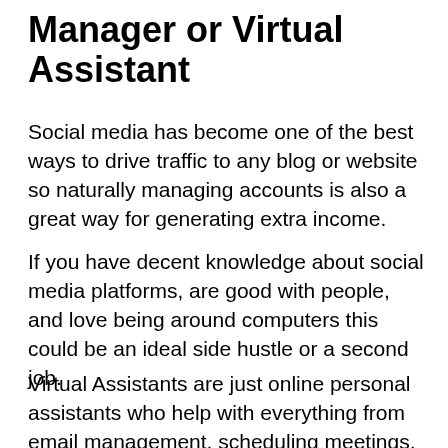Manager or Virtual Assistant
Social media has become one of the best ways to drive traffic to any blog or website so naturally managing accounts is also a great way for generating extra income.
If you have decent knowledge about social media platforms, are good with people, and love being around computers this could be an ideal side hustle or a second job.
Virtual Assistants are just online personal assistants who help with everything from email management, scheduling meetings, doing research – even grocery shopping! If interested, consider joining…